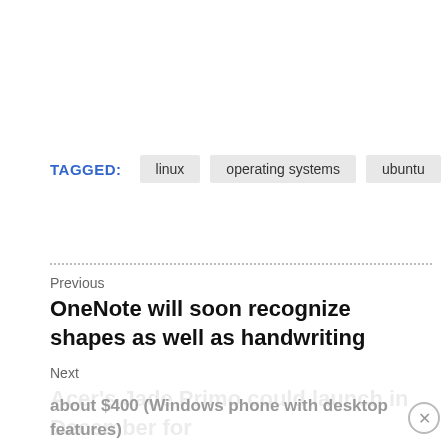TAGGED: linux  operating systems  ubuntu
Previous
OneNote will soon recognize shapes as well as handwriting
Next
Acer's Jade Primo could launch in December for about $400 (Windows phone with desktop features)